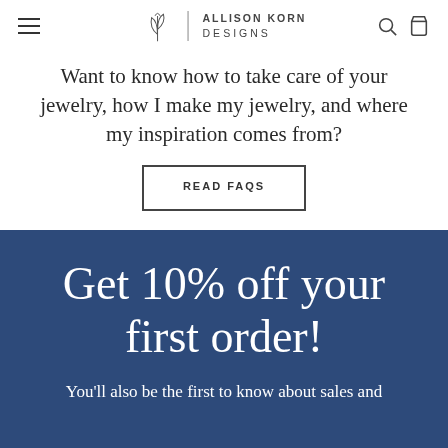Allison Korn Designs — navigation header
Want to know how to take care of your jewelry, how I make my jewelry, and where my inspiration comes from?
READ FAQS
Get 10% off your first order!
You'll also be the first to know about sales and